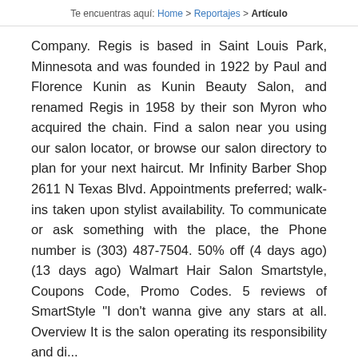Te encuentras aquí: Home > Reportajes > Artículo
Company. Regis is based in Saint Louis Park, Minnesota and was founded in 1922 by Paul and Florence Kunin as Kunin Beauty Salon, and renamed Regis in 1958 by their son Myron who acquired the chain. Find a salon near you using our salon locator, or browse our salon directory to plan for your next haircut. Mr Infinity Barber Shop 2611 N Texas Blvd. Appointments preferred; walk-ins taken upon stylist availability. To communicate or ask something with the place, the Phone number is (303) 487-7504. 50% off (4 days ago) (13 days ago) Walmart Hair Salon Smartstyle, Coupons Code, Promo Codes. 5 reviews of SmartStyle "I don't wanna give any stars at all. Overview It is the salon operating its responsibility and di...